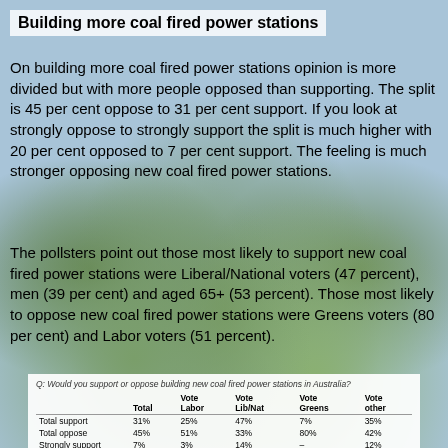Building more coal fired power stations
On building more coal fired power stations opinion is more divided but with more people opposed than supporting. The split is 45 per cent oppose to 31 per cent support. If you look at strongly oppose to strongly support the split is much higher with 20 per cent opposed to 7 per cent support. The feeling is much stronger opposing new coal fired power stations.
The pollsters point out those most likely to support new coal fired power stations were Liberal/National voters (47 percent), men (39 per cent) and aged 65+ (53 percent). Those most likely to oppose new coal fired power stations were Greens voters (80 per cent) and Labor voters (51 percent).
Q: Would you support or oppose building new coal fired power stations in Australia?
|  | Total | Vote Labor | Vote Lib/Nat | Vote Greens | Vote other |
| --- | --- | --- | --- | --- | --- |
| Total support | 31% | 25% | 47% | 7% | 35% |
| Total oppose | 45% | 51% | 33% | 80% | 42% |
| Strongly support | 7% | 3% | 14% | – | 12% |
| Support | 24% | 22% | 33% | 7% | 24% |